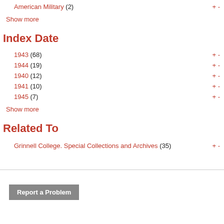American Military (2) + -
Show more
Index Date
1943 (68) + -
1944 (19) + -
1940 (12) + -
1941 (10) + -
1945 (7) + -
Show more
Related To
Grinnell College. Special Collections and Archives (35) + -
Report a Problem